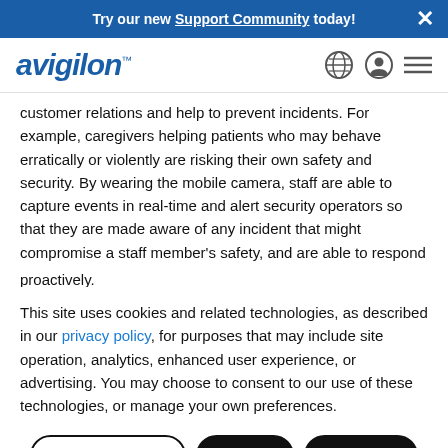Try our new Support Community today!
[Figure (logo): Avigilon logo with globe, user, and menu icons]
customer relations and help to prevent incidents. For example, caregivers helping patients who may behave erratically or violently are risking their own safety and security. By wearing the mobile camera, staff are able to capture events in real-time and alert security operators so that they are made aware of any incident that might compromise a staff member's safety, and are able to respond proactively.
This site uses cookies and related technologies, as described in our privacy policy, for purposes that may include site operation, analytics, enhanced user experience, or advertising. You may choose to consent to our use of these technologies, or manage your own preferences.
Manage Settings | Accept | Decline All